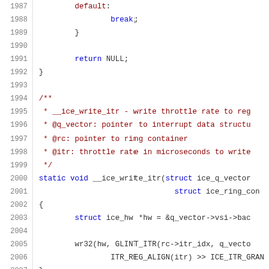Source code listing lines 1987-2008, C language, showing a static function __ice_write_itr with comments and code body